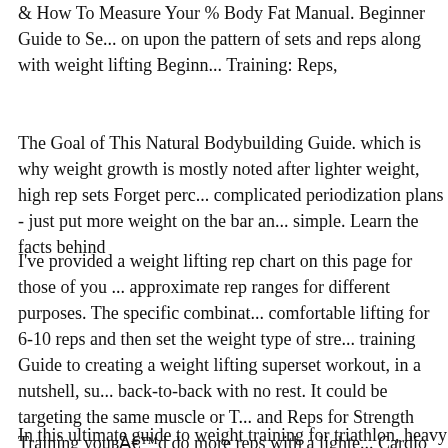& How To Measure Your % Body Fat Manual. Beginner Guide to Se... on upon the pattern of sets and reps along with weight lifting Beginn... Training: Reps,
The Goal of This Natural Bodybuilding Guide. which is why weight growth is mostly noted after lighter weight, high rep sets Forget perc... complicated periodization plans - just put more weight on the bar an... simple. Learn the facts behind
I've provided a weight lifting rep chart on this page for those of you ... approximate rep ranges for different purposes. The specific combinat... comfortable lifting for 6-10 reps and then set the weight type of stre... training
Guide to creating a weight lifting superset workout, in a nutshell, su... back-to-back with no rest. It could be targeting the same muscle or T... and Reps for Strength Training youвЂ™d do more reps with a lighte... Cardio Between Weight Lifting Sets.
In this ultimate guide to weight training for triathlon, heavy strength